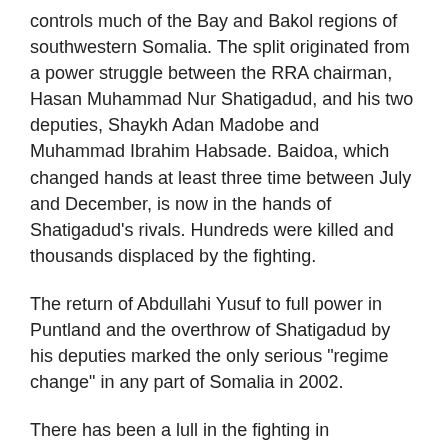controls much of the Bay and Bakol regions of southwestern Somalia. The split originated from a power struggle between the RRA chairman, Hasan Muhammad Nur Shatigadud, and his two deputies, Shaykh Adan Madobe and Muhammad Ibrahim Habsade. Baidoa, which changed hands at least three time between July and December, is now in the hands of Shatigadud's rivals. Hundreds were killed and thousands displaced by the fighting.
The return of Abdullahi Yusuf to full power in Puntland and the overthrow of Shatigadud by his deputies marked the only serious "regime change" in any part of Somalia in 2002.
There has been a lull in the fighting in Mogadishu, Baidoa, and Puntland, but observers believe that a resurgence is "not unlikely".
HUMANITARIAN IMPACT